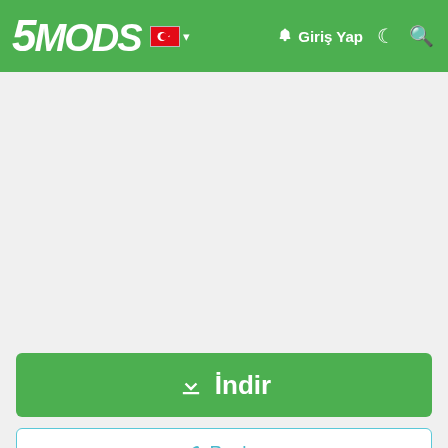5MODS  Giriş Yap
[Figure (screenshot): Advertisement/blank area below header]
⬇ İndir
⬡ Paylaş
V8Kompre55or